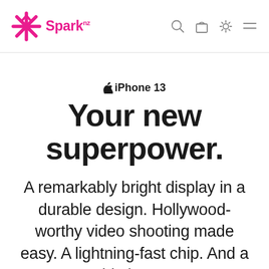[Figure (logo): Spark NZ logo: pink asterisk/snowflake icon followed by the text 'Spark' with 'nz' superscript in pink, in the top navigation bar]
[Figure (other): Navigation bar icons: search (magnifying glass), shopping bag, settings (gear), and hamburger menu]
iPhone 13
Your new superpower.
A remarkably bright display in a durable design. Hollywood-worthy video shooting made easy. A lightning-fast chip. And a big boost